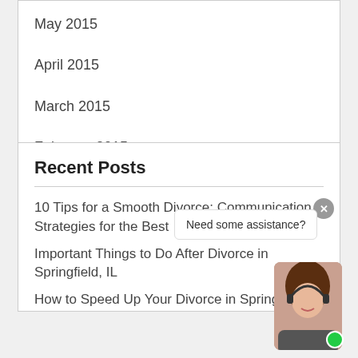May 2015
April 2015
March 2015
February 2015
Recent Posts
10 Tips for a Smooth Divorce: Communication Strategies for the Best
Important Things to Do After Divorce in Springfield, IL
How to Speed Up Your Divorce in Springfield, IL